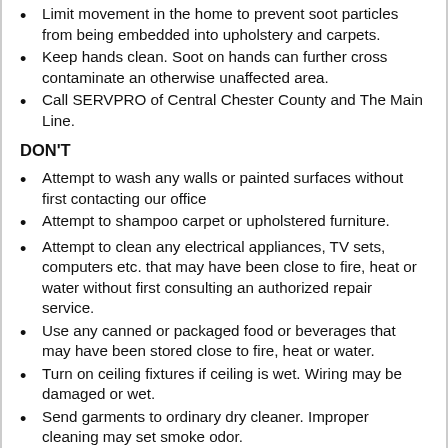Limit movement in the home to prevent soot particles from being embedded into upholstery and carpets.
Keep hands clean. Soot on hands can further cross contaminate an otherwise unaffected area.
Call SERVPRO of Central Chester County and The Main Line.
DON'T
Attempt to wash any walls or painted surfaces without first contacting our office
Attempt to shampoo carpet or upholstered furniture.
Attempt to clean any electrical appliances, TV sets, computers etc. that may have been close to fire, heat or water without first consulting an authorized repair service.
Use any canned or packaged food or beverages that may have been stored close to fire, heat or water.
Turn on ceiling fixtures if ceiling is wet. Wiring may be damaged or wet.
Send garments to ordinary dry cleaner. Improper cleaning may set smoke odor.
10 Bathroom Water